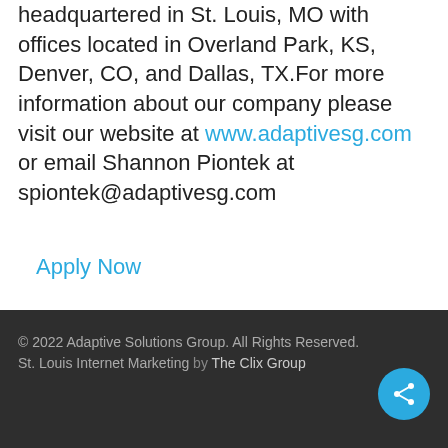headquartered in St. Louis, MO with offices located in Overland Park, KS, Denver, CO, and Dallas, TX.For more information about our company please visit our website at www.adaptivesg.com or email Shannon Piontek at spiontek@adaptivesg.com
Apply Now
© 2022 Adaptive Solutions Group. All Rights Reserved. St. Louis Internet Marketing by The Clix Group